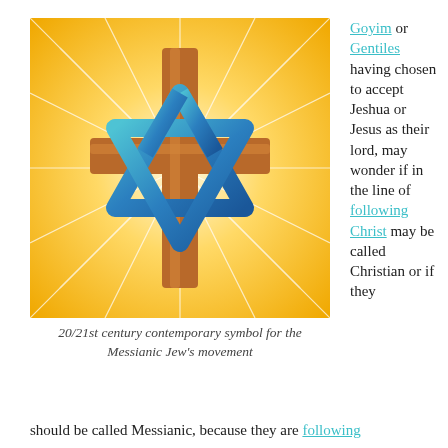[Figure (illustration): 20/21st century contemporary symbol for the Messianic Jew's movement — a golden cross combined with a blue Star of David, on a radiant golden sunburst background]
20/21st century contemporary symbol for the Messianic Jew's movement
Goyim or Gentiles having chosen to accept Jeshua or Jesus as their lord, may wonder if in the line of following Christ may be called Christian or if they should be called Messianic, because they are following
should be called Messianic, because they are following